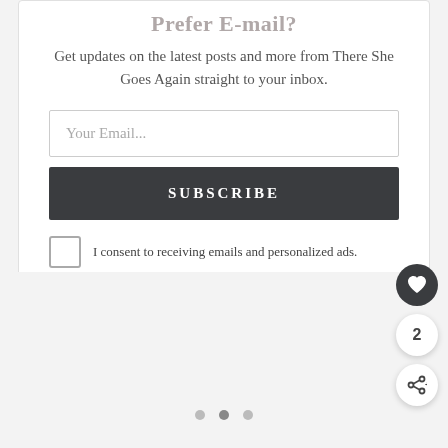Prefer E-mail?
Get updates on the latest posts and more from There She Goes Again straight to your inbox.
Your Email...
SUBSCRIBE
I consent to receiving emails and personalized ads.
[Figure (other): Carousel dot indicators (three dots, middle one darker)]
[Figure (other): Heart favorite button (dark circle with heart icon)]
2
[Figure (other): Share button (white circle with share icon)]